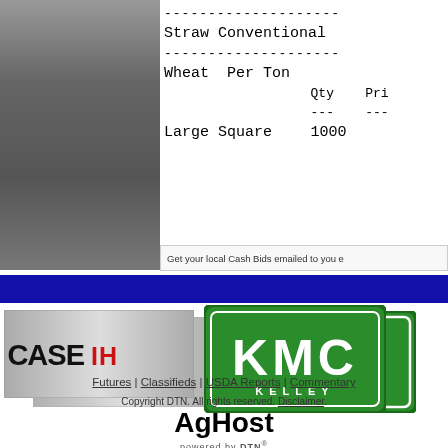[Figure (other): Gray gradient panel on left side of page]
|  | Qty | Pri... |
| --- | --- | --- |
| Straw Conventional |  |  |
| Wheat  Per Ton |  |  |
|  | --- | --- |
| Large Square | 1000 |  |
Get your local Cash Bids emailed to you e...
[Figure (logo): CASE IH logo on gray gradient background]
[Figure (logo): KMC KELLEY logo - green rectangle with white text]
Futures | Classifieds | USDA Reports | Commentary
Copyright DTN. All rights reserved. Disclaimer.
[Figure (logo): AgHost powered by DTN logo]